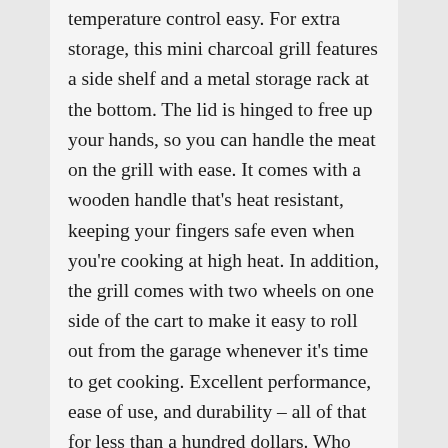temperature control easy. For extra storage, this mini charcoal grill features a side shelf and a metal storage rack at the bottom. The lid is hinged to free up your hands, so you can handle the meat on the grill with ease. It comes with a wooden handle that's heat resistant, keeping your fingers safe even when you're cooking at high heat. In addition, the grill comes with two wheels on one side of the cart to make it easy to roll out from the garage whenever it's time to get cooking. Excellent performance, ease of use, and durability – all of that for less than a hundred dollars. Who says budget-friendly means cheap? With this grill, you get more than your money's worth.